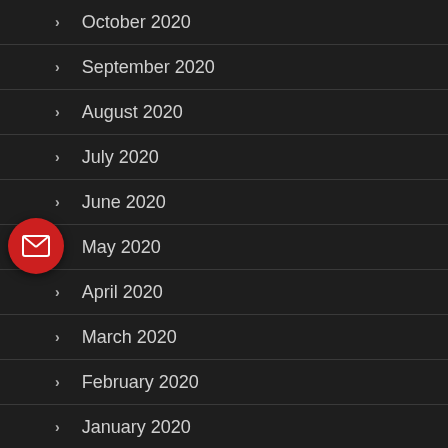October 2020
September 2020
August 2020
July 2020
June 2020
May 2020
April 2020
March 2020
February 2020
January 2020
December 2019